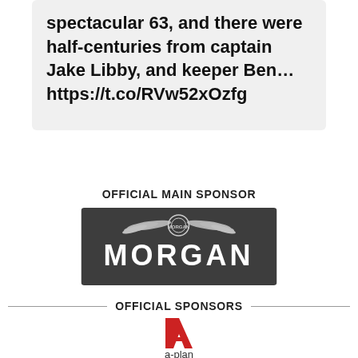spectacular 63, and there were half-centuries from captain Jake Libby, and keeper Ben… https://t.co/RVw52xOzfg
OFFICIAL MAIN SPONSOR
[Figure (logo): Morgan Motor Company logo — white text 'MORGAN' with winged emblem on dark grey/charcoal background]
OFFICIAL SPONSORS
[Figure (logo): A-Plan insurance logo — red letter A with 'a-plan' text below and tagline 'Putting clients first']